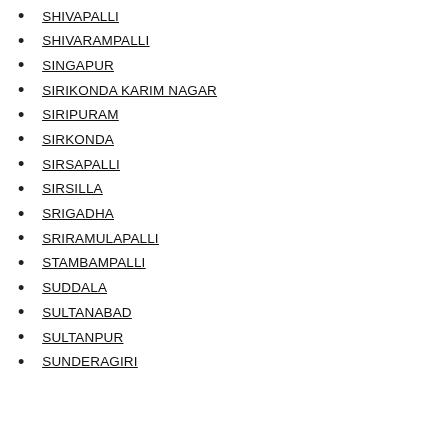SHIVAPALLI
SHIVARAMPALLI
SINGAPUR
SIRIKONDA KARIM NAGAR
SIRIPURAM
SIRKONDA
SIRSAPALLI
SIRSILLA
SRIGADHA
SRIRAMULAPALLI
STAMBAMPALLI
SUDDALA
SULTANABAD
SULTANPUR
SUNDERAGIRI